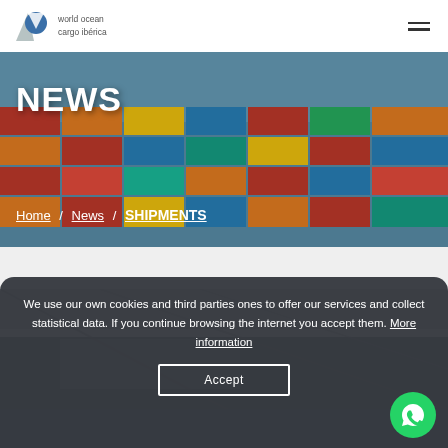World Ocean Cargo Ibérica
[Figure (photo): Hero banner showing stacked colorful shipping containers on a cargo vessel at sea]
NEWS
Home / News / SHIPMENTS
[Figure (photo): Partial view of a boat hull or yacht in a harbor]
We use our own cookies and third parties ones to offer our services and collect statistical data. If you continue browsing the internet you accept them. More information
Accept